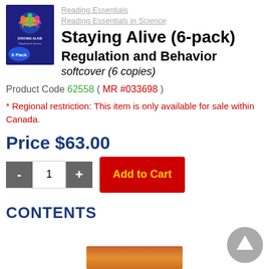[Figure (photo): Book cover for 'Staying Alive Regulation and Behavior' with '6 Pack' label badge, dark blue background with colorful figures]
Reading Essentials
Reading Essentials in Science
Staying Alive (6-pack)
Regulation and Behavior
softcover (6 copies)
Product Code 62558 ( MR #033698 )
* Regional restriction: This item is only available for sale within Canada.
Price $63.00
CONTENTS
[Figure (photo): Partial view of a book cover with warm orange/brown tones at the bottom of the page]